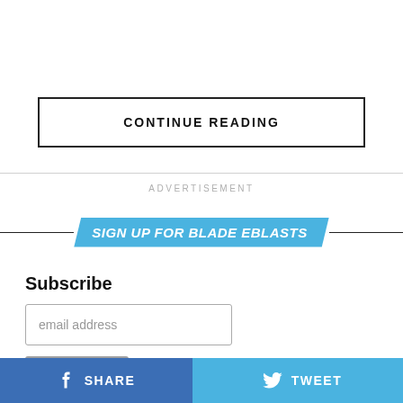CONTINUE READING
ADVERTISEMENT
[Figure (infographic): Sign up for Blade Eblasts banner with blue parallelogram background and horizontal lines on each side]
Subscribe
email address
Subscribe
SHARE   TWEET   ...